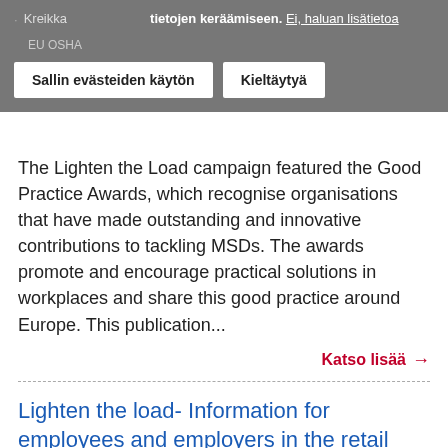tietojen keräämiseen. Ei, haluan lisätietoa | Sallin evästeiden käytön | Kieltäytyä
The Lighten the Load campaign featured the Good Practice Awards, which recognise organisations that have made outstanding and innovative contributions to tackling MSDs. The awards promote and encourage practical solutions in workplaces and share this good practice around Europe. This publication...
Katso lisää →
Lighten the load- Information for employees and employers in the retail sector